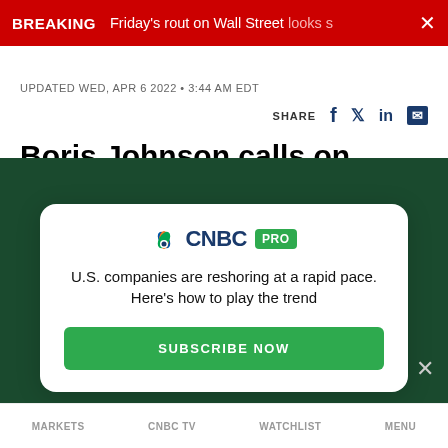BREAKING  Friday's rout on Wall Street looks s  ×
UPDATED WED, APR 6 2022 • 3:44 AM EDT
SHARE  f  🐦  in  ✉
Boris Johnson calls on Russians to 'find the truth;'
[Figure (screenshot): CNBC PRO modal overlay on dark green background. Contains CNBC PRO logo, text 'U.S. companies are reshoring at a rapid pace. Here's how to play the trend', and a green 'SUBSCRIBE NOW' button. A close (×) button appears in the top right of the overlay.]
MARKETS   CNBC TV   WATCHLIST   MENU